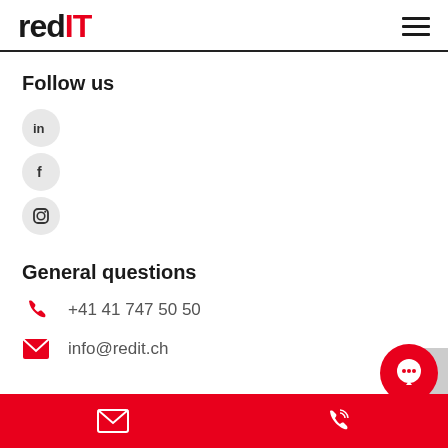redIT
Follow us
[Figure (illustration): LinkedIn, Facebook, and Instagram social media icons in gray circles]
General questions
+41 41 747 50 50
info@redit.ch
Email and phone icons on red footer bar